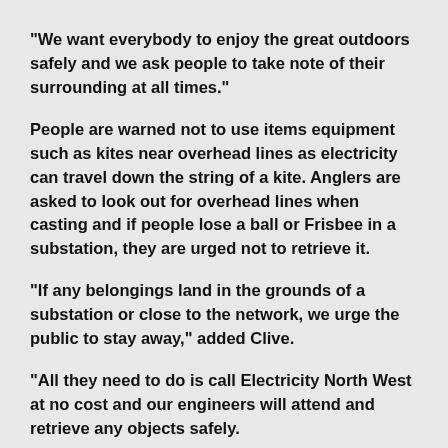“We want everybody to enjoy the great outdoors safely and we ask people to take note of their surrounding at all times.”
People are warned not to use items equipment such as kites near overhead lines as electricity can travel down the string of a kite. Anglers are asked to look out for overhead lines when casting and if people lose a ball or Frisbee in a substation, they are urged not to retrieve it.
“If any belongings land in the grounds of a substation or close to the network, we urge the public to stay away,” added Clive.
“All they need to do is call Electricity North West at no cost and our engineers will attend and retrieve any objects safely.
“I really cannot stress how powerful the electricity network